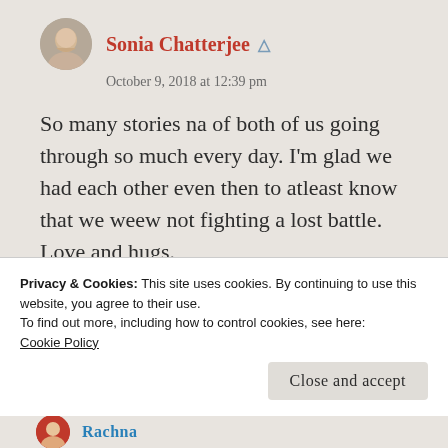Sonia Chatterjee
October 9, 2018 at 12:39 pm
So many stories na of both of us going through so much every day. I'm glad we had each other even then to atleast know that we weew not fighting a lost battle. Love and hugs.
Like
Privacy & Cookies: This site uses cookies. By continuing to use this website, you agree to their use.
To find out more, including how to control cookies, see here:
Cookie Policy
Close and accept
Rachna